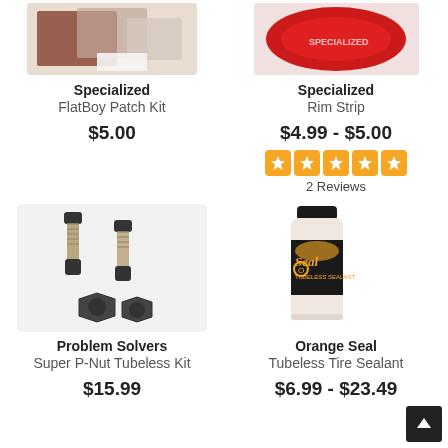[Figure (photo): Specialized FlatBoy Patch Kit product image]
Specialized
FlatBoy Patch Kit
$5.00
[Figure (photo): Specialized Rim Strip product image]
Specialized
Rim Strip
$4.99 - $5.00
2 Reviews
[Figure (photo): Problem Solvers Super P-Nut Tubeless Kit product image showing valves and nuts]
Problem Solvers
Super P-Nut Tubeless Kit
$15.99
[Figure (photo): Orange Seal Tubeless Tire Sealant bottle product image]
Orange Seal
Tubeless Tire Sealant
$6.99 - $23.49